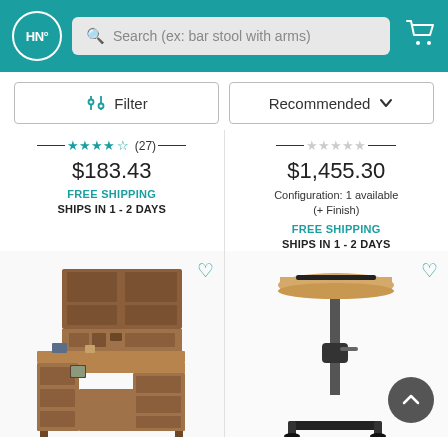HN° | Search (ex: bar stool with arms)
Filter | Recommended
★★★★½ (27) $183.43 FREE SHIPPING SHIPS IN 1 - 2 DAYS
☆☆☆☆☆ $1,455.30 Configuration: 1 available (+ Finish) FREE SHIPPING SHIPS IN 1 - 2 DAYS
[Figure (photo): L-shaped brown wooden desk with hutch]
[Figure (photo): Adjustable laptop stand/desk on a pole]